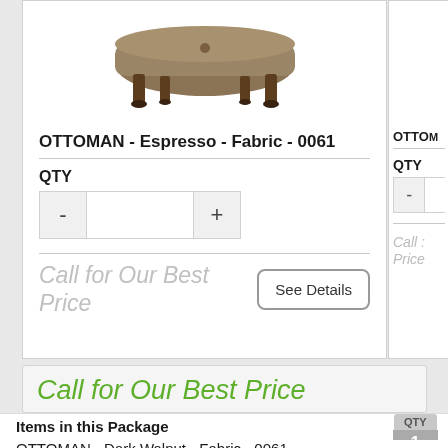[Figure (photo): Ottoman furniture product photo - brown upholstered ottoman with dark wooden legs, shown from above/front angle]
OTTOMAN - Espresso - Fabric - 0061
QTY
- [input] +
Call for Our Best Price
See Details
[Figure (photo): Partial view of second ottoman product card (OTTO...) cut off at right edge]
QTY
- [input]
Call :
Price
Call for Our Best Price
Items in this Package
QTY
OTTOMAN - Dark Walnut - Fabric - 0061
1